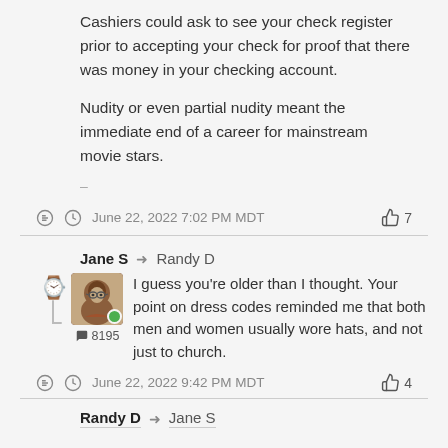Cashiers could ask to see your check register prior to accepting your check for proof that there was money in your checking account.
Nudity or even partial nudity meant the immediate end of a career for mainstream movie stars.
–
June 22, 2022 7:02 PM MDT  👍 7
Jane S → Randy D
I guess you're older than I thought. Your point on dress codes reminded me that both men and women usually wore hats, and not just to church.
June 22, 2022 9:42 PM MDT  👍 4
Randy D → Jane S